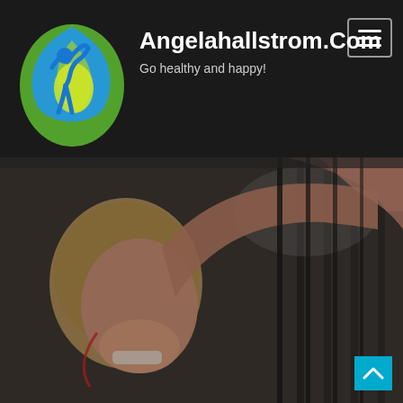[Figure (logo): Circular health/wellness logo with a blue stylized human figure and green leaf/droplet shape with yellow highlight]
Angelahallstrom.Com
Go healthy and happy!
[Figure (photo): Woman in gym smiling, reaching up to grab a bar or high-five, photographed from low angle in dark gym environment]